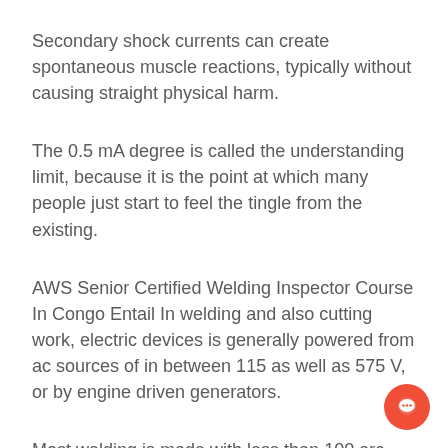Secondary shock currents can create spontaneous muscle reactions, typically without causing straight physical harm.
The 0.5 mA degree is called the understanding limit, because it is the point at which many people just start to feel the tingle from the existing.
AWS Senior Certified Welding Inspector Course In Congo Entail In welding and also cutting work, electric devices is generally powered from ac sources of in between 115 as well as 575 V, or by engine driven generators.
Most welding is made with less than 100 arc volts.